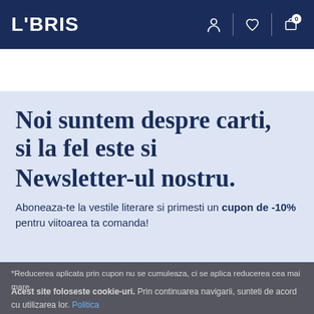LIBRIS
Cauta printre rafturile noastre
Noi suntem despre carti, si la fel este si Newsletter-ul nostru.
Aboneaza-te la vestile literare si primesti un cupon de -10% pentru viitoarea ta comanda!
*Reducerea aplicata prin cupon nu se cumuleaza, ci se aplica reducerea cea mai mare.
Acest site foloseste cookie-uri. Prin continuarea navigarii, sunteti de acord cu utilizarea lor. Politica